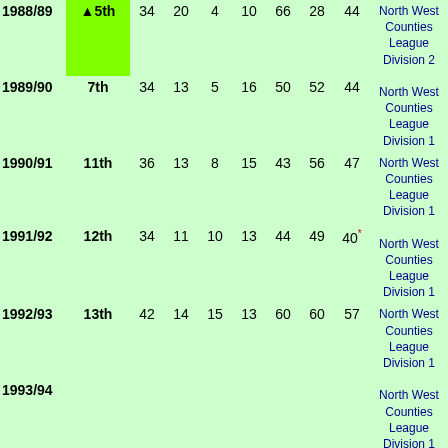| Season | Pos | P | W | D | L | F | A | Pts | League |
| --- | --- | --- | --- | --- | --- | --- | --- | --- | --- |
| 1988/89 | ▲5th | 34 | 20 | 4 | 10 | 66 | 28 | 44 | North West Counties League Division 2 |
| 1989/90 | 7th | 34 | 13 | 5 | 16 | 50 | 52 | 44 | North West Counties League Division 1 |
| 1990/91 | 11th | 36 | 13 | 8 | 15 | 43 | 56 | 47 | North West Counties League Division 1 |
| 1991/92 | 12th | 34 | 11 | 10 | 13 | 44 | 49 | 40* | North West Counties League Division 1 |
| 1992/93 | 13th | 42 | 14 | 15 | 13 | 60 | 60 | 57 | North West Counties League Division 1 |
| 1993/94 |  |  |  |  |  |  |  |  | North West Counties |